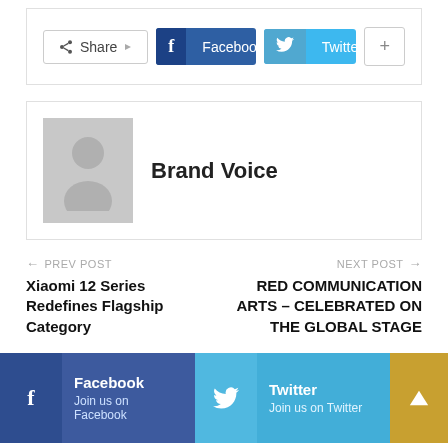[Figure (screenshot): Social share bar with Share button, Facebook button, Twitter button, and plus button]
[Figure (screenshot): Author card with placeholder avatar and name Brand Voice]
Brand Voice
← PREV POST
Xiaomi 12 Series Redefines Flagship Category
NEXT POST →
RED COMMUNICATION ARTS – CELEBRATED ON THE GLOBAL STAGE
Facebook Join us on Facebook | Twitter Join us on Twitter